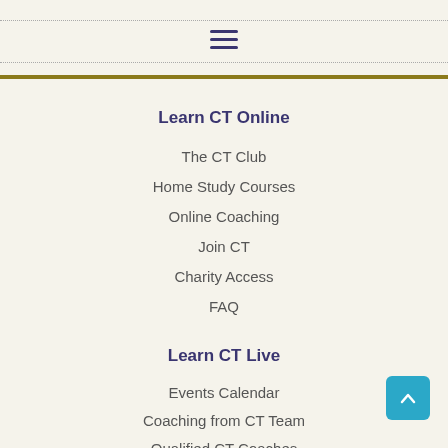≡
Learn CT Online
The CT Club
Home Study Courses
Online Coaching
Join CT
Charity Access
FAQ
Learn CT Live
Events Calendar
Coaching from CT Team
Qualified CT Coaches
CT Centre, Spain